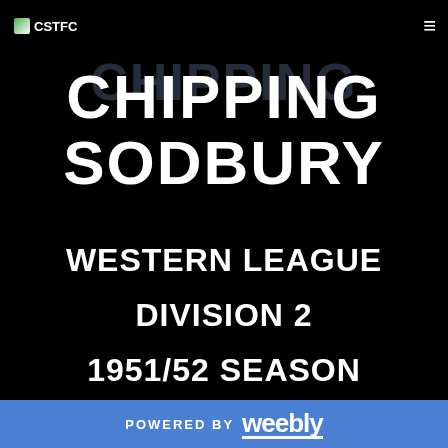CSTFC
CHIPPING SODBURY
WESTERN LEAGUE
DIVISION 2
1951/52 SEASON
POWERED BY weebly